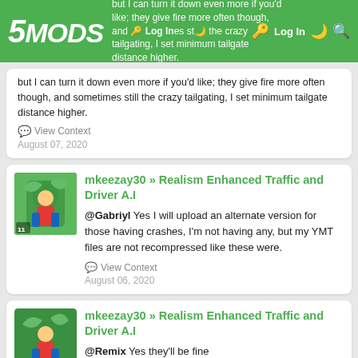5MODS navigation bar with Log In button
but I can turn it down even more if you'd like; they give fire more often though, and sometimes still the crazy tailgating, I set minimum tailgate distance higher.
View Context
August 07, 2020
mkeezay30 » Realism Enhanced Traffic and Driver A.I
@Gabriyl Yes I will upload an alternate version for those having crashes, I'm not having any, but my YMT files are not recompressed like these were.
View Context
August 06, 2020
mkeezay30 » Realism Enhanced Traffic and Driver A.I
@Remix Yes they'll be fine
@Gabriyl
@o__Shumi__o
Here is a list of the files used.

Vehicleaihandlingdata.meta